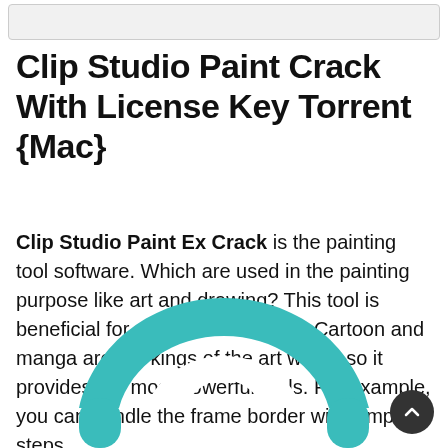Clip Studio Paint Crack With License Key Torrent {Mac}
Clip Studio Paint Ex Crack is the painting tool software. Which are used in the painting purpose like art and drawing? This tool is beneficial for comics and manga. Cartoon and manga are the kings of the art world, so it provides the most powerful tools. For example, you can handle the frame border with simple steps.
[Figure (logo): Clip Studio Paint teal/turquoise logo icon — a stylized letter C shape made of rounded paths, partially visible at bottom of page]